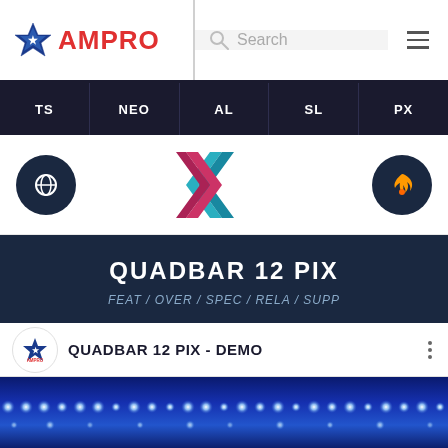[Figure (logo): AMPRO logo with star icon and red text, search bar, and hamburger menu in header]
TS  NEO  AL  SL  PX
[Figure (logo): Three icons row: dark circle with eye/globe icon on left, colorful double-chevron logo in center, dark circle with flame icon on right]
QUADBAR 12 PIX
FEAT / OVER / SPEC / RELA / SUPP
[Figure (screenshot): Demo row with AMPRO logo circle, QUADBAR 12 PIX - DEMO text, and three-dot menu]
[Figure (photo): LED stadium lights row on blue background]